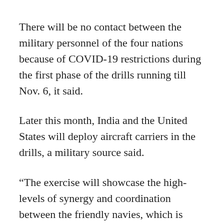There will be no contact between the military personnel of the four nations because of COVID-19 restrictions during the first phase of the drills running till Nov. 6, it said.
Later this month, India and the United States will deploy aircraft carriers in the drills, a military source said.
“The exercise will showcase the high-levels of synergy and coordination between the friendly navies, which is based on their shared values and commitment to an open, inclusive Indo-Pacific and a rules-based international order,” the defence ministry said in its